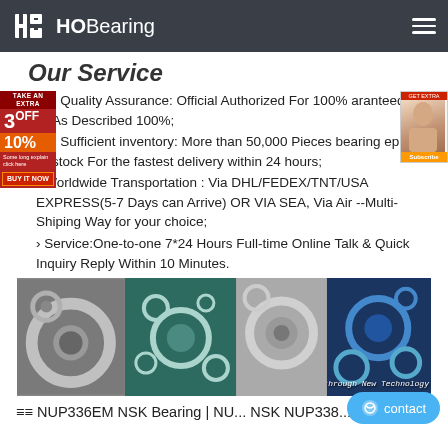HOBearing
Our Service
› Quality Assurance: Official Authorized For 100% aranteed As Described 100%;
› Sufficient inventory: More than 50,000 Pieces bearing ep in stock For the fastest delivery within 24 hours;
› Worldwide Transportation : Via DHL/FEDEX/TNT/USA EXPRESS(5-7 Days can Arrive) OR VIA SEA, Via Air --Multi-Shiping Way for your choice;
› Service:One-to-one 7*24 Hours Full-time Online Talk & Quick Inquiry Reply Within 10 Minutes.
[Figure (photo): Four-panel composite photo of various industrial bearings including ball bearings and roller bearings, with text 'New Value through New Technology']
≡≡ NUP336EM NSK Bearing | NU... NSK NUP338... ≡≡